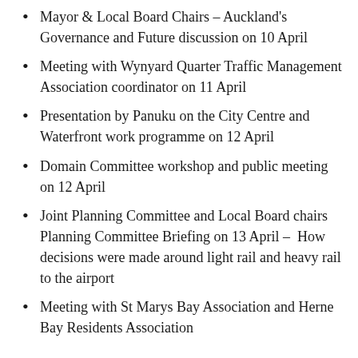Mayor & Local Board Chairs – Auckland's Governance and Future discussion on 10 April
Meeting with Wynyard Quarter Traffic Management Association coordinator on 11 April
Presentation by Panuku on the City Centre and Waterfront work programme on 12 April
Domain Committee workshop and public meeting on 12 April
Joint Planning Committee and Local Board chairs Planning Committee Briefing on 13 April – How decisions were made around light rail and heavy rail to the airport
Meeting with St Marys Bay Association and Herne Bay Residents Association